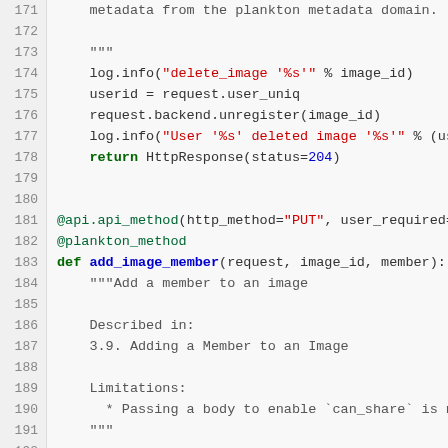Code listing lines 171-196 showing Python API methods delete_image and add_image_member